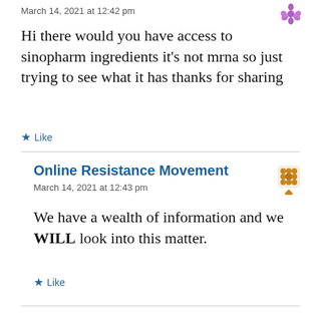March 14, 2021 at 12:42 pm
Hi there would you have access to sinopharm ingredients it’s not mrna so just trying to see what it has thanks for sharing
★ Like
Online Resistance Movement
March 14, 2021 at 12:43 pm
We have a wealth of information and we WILL look into this matter.
★ Like